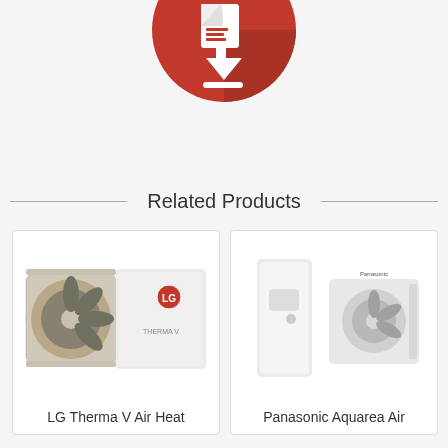[Figure (logo): Red circular download/import icon with white downward arrow and document symbol, partially cropped at top of page]
Related Products
[Figure (photo): LG Therma V Air Heat pump outdoor unit with fan and white housing panels with LG branding]
LG Therma V Air Heat
[Figure (photo): Panasonic Aquarea Air heat pump system with indoor unit and outdoor unit shown side by side]
Panasonic Aquarea Air